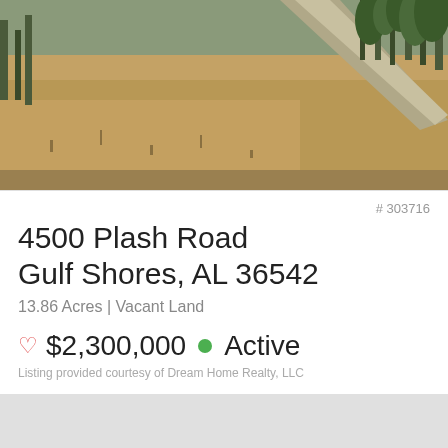[Figure (photo): Aerial/ground-level photo of an open grassy field with pine trees and a dirt road winding through the landscape]
# 303716
4500 Plash Road
Gulf Shores, AL 36542
13.86 Acres | Vacant Land
♡ $2,300,000 ● Active
Listing provided courtesy of Dream Home Realty, LLC
[Figure (map): A light gray map placeholder showing the property location]